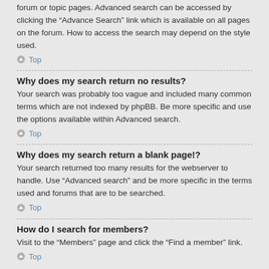forum or topic pages. Advanced search can be accessed by clicking the “Advance Search” link which is available on all pages on the forum. How to access the search may depend on the style used.
Top
Why does my search return no results?
Your search was probably too vague and included many common terms which are not indexed by phpBB. Be more specific and use the options available within Advanced search.
Top
Why does my search return a blank page!?
Your search returned too many results for the webserver to handle. Use “Advanced search” and be more specific in the terms used and forums that are to be searched.
Top
How do I search for members?
Visit to the “Members” page and click the “Find a member” link.
Top